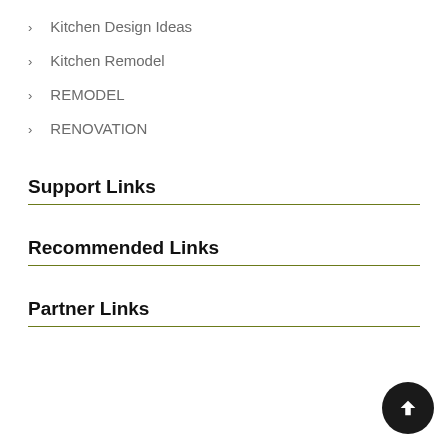Kitchen Design Ideas
Kitchen Remodel
REMODEL
RENOVATION
Support Links
Recommended Links
Partner Links